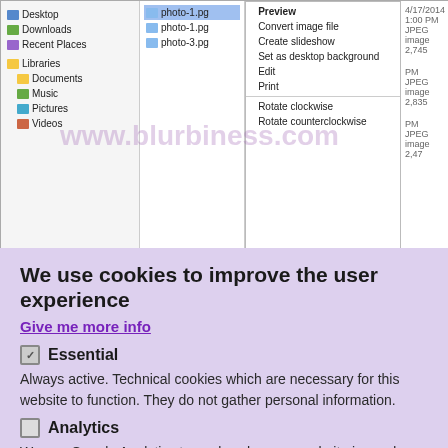[Figure (screenshot): Windows file manager screenshot showing sidebar with Desktop, Downloads, Recent Places, Libraries (Documents, Music, Pictures, Videos), file list with photo-1.pg, photo-1.pg, photo-3.pg selected, and a right-click context menu with options: Preview, Convert image file, Create slideshow, Set as desktop background, Edit, Print, Rotate clockwise, Rotate counterclockwise. Right side shows file details with JPEG image entries and sizes 2,745 / 2,835 / 2,47x. Watermark text 'www.blurbiness.com' overlaid.]
We use cookies to improve the user experience
Give me more info
Essential
Always active. Technical cookies which are necessary for this website to function. They do not gather personal information.
Analytics
We use Google Analytics to analyze how our website is used, which helps us to provide a better service.
Save preferences
Accept all